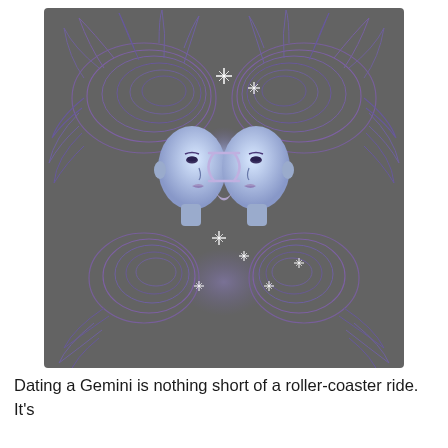[Figure (illustration): Gemini zodiac sign illustration showing two mirrored female faces with elaborate swirling purple hair against a dark gray background, with the Gemini symbol in the center and sparkling star effects.]
Dating a Gemini is nothing short of a roller-coaster ride. It's